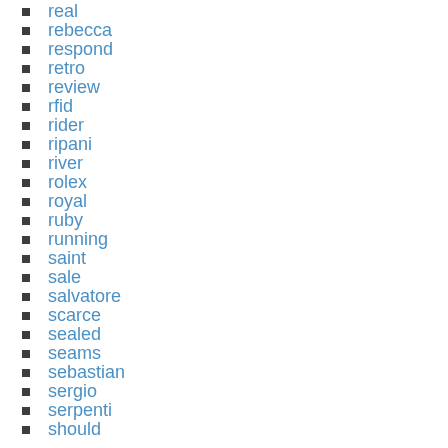real
rebecca
respond
retro
review
rfid
rider
ripani
river
rolex
royal
ruby
running
saint
sale
salvatore
scarce
sealed
seams
sebastian
sergio
serpenti
should